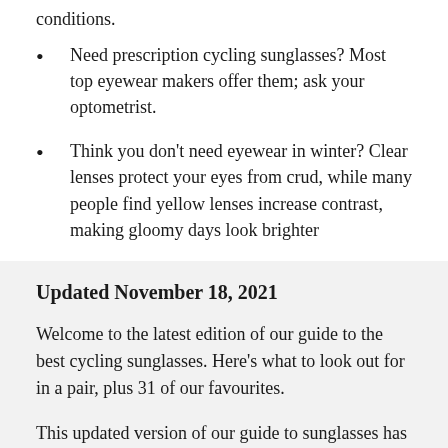conditions.
Need prescription cycling sunglasses? Most top eyewear makers offer them; ask your optometrist.
Think you don't need eyewear in winter? Clear lenses protect your eyes from crud, while many people find yellow lenses increase contrast, making gloomy days look brighter
Updated November 18, 2021
Welcome to the latest edition of our guide to the best cycling sunglasses. Here's what to look out for in a pair, plus 31 of our favourites.
This updated version of our guide to sunglasses has been substantially overhauled with the 10 pairs of